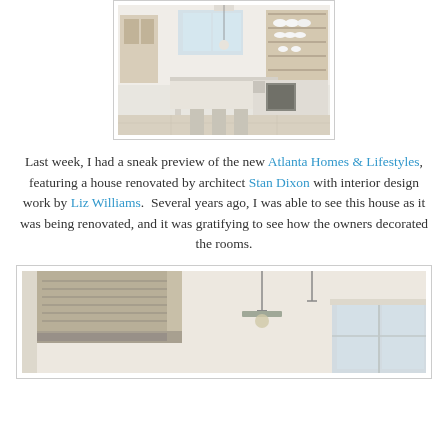[Figure (photo): Interior kitchen photo showing white kitchen with island, open shelving with dishes, pendant lighting, and appliances]
Last week, I had a sneak preview of the new Atlanta Homes & Lifestyles, featuring a house renovated by architect Stan Dixon with interior design work by Liz Williams.  Several years ago, I was able to see this house as it was being renovated, and it was gratifying to see how the owners decorated the rooms.
[Figure (photo): Partial view of kitchen showing range hood vent and pendant lighting fixture, with windows in background]